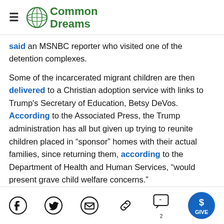Common Dreams
said an MSNBC reporter who visited one of the detention complexes.
Some of the incarcerated migrant children are then delivered to a Christian adoption service with links to Trump's Secretary of Education, Betsy DeVos. According to the Associated Press, the Trump administration has all but given up trying to reunite children placed in “sponsor” homes with their actual families, since returning them, according to the Department of Health and Human Services, “would present grave child welfare concerns.”
Make Heaven Weep